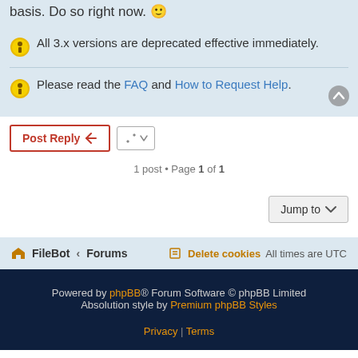basis. Do so right now. 😊
All 3.x versions are deprecated effective immediately.
Please read the FAQ and How to Request Help.
1 post • Page 1 of 1
Jump to
FileBot ‹ Forums   Delete cookies   All times are UTC
Powered by phpBB® Forum Software © phpBB Limited
Absolution style by Premium phpBB Styles
Privacy | Terms